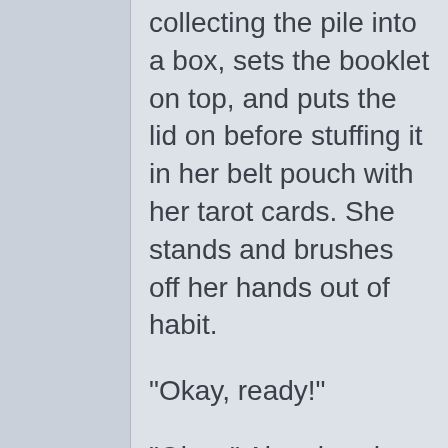collecting the pile into a box, sets the booklet on top, and puts the lid on before stuffing it in her belt pouch with her tarot cards. She stands and brushes off her hands out of habit.
"Okay, ready!"
"Okay." Alyra heads for the front door of the shop, stopping only to check her pocket for a